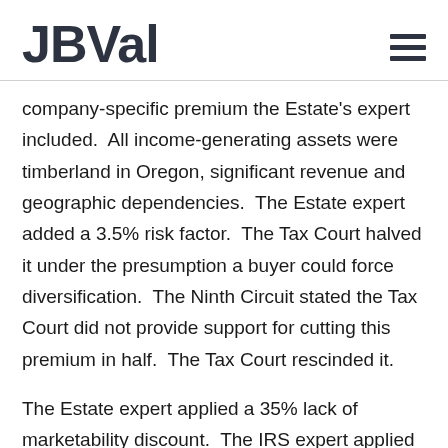JBVAL
company-specific premium the Estate's expert included.  All income-generating assets were timberland in Oregon, significant revenue and geographic dependencies.  The Estate expert added a 3.5% risk factor.  The Tax Court halved it under the presumption a buyer could force diversification.  The Ninth Circuit stated the Tax Court did not provide support for cutting this premium in half.  The Tax Court rescinded it.
The Estate expert applied a 35% lack of marketability discount.  The IRS expert applied a